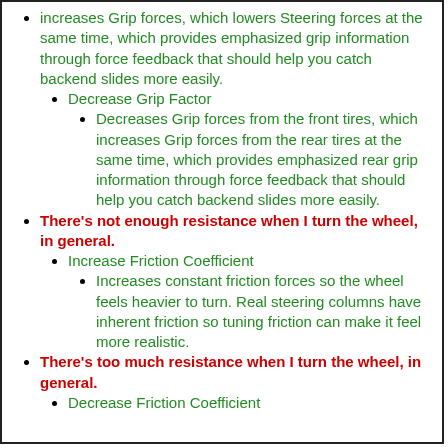(continued) increases Grip forces, which lowers Steering forces at the same time, which provides emphasized grip information through force feedback that should help you catch backend slides more easily.
Decrease Grip Factor
Decreases Grip forces from the front tires, which increases Grip forces from the rear tires at the same time, which provides emphasized rear grip information through force feedback that should help you catch backend slides more easily.
There's not enough resistance when I turn the wheel, in general.
Increase Friction Coefficient
Increases constant friction forces so the wheel feels heavier to turn. Real steering columns have inherent friction so tuning friction can make it feel more realistic.
There's too much resistance when I turn the wheel, in general.
Decrease Friction Coefficient